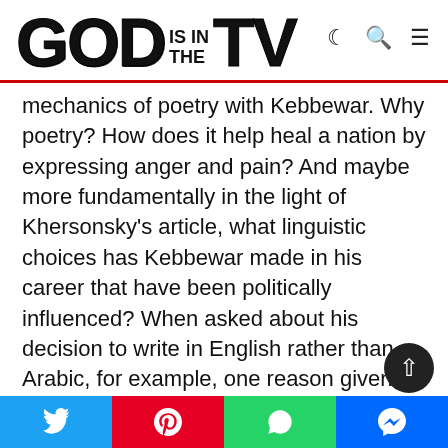GOD IS IN THE TV
mechanics of poetry with Kebbewar. Why poetry? How does it help heal a nation by expressing anger and pain? And maybe more fundamentally in the light of Khersonsky's article, what linguistic choices has Kebbewar made in his career that have been politically influenced? When asked about his decision to write in English rather than Arabic, for example, one reason given is ease of transmission. Kebbewar wants his feelings and his country's pain to be as easily communicated as possible, particularly to the friends he has left behind in Canada. For him too there have been political considerations as he fears political or state repercussions
Twitter | Pinterest | WhatsApp | Messenger